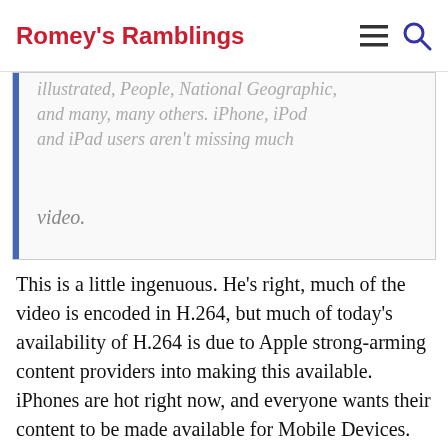Romey's Ramblings
illustrated, People, National Geographic, and many, many others. iPhone, iPod and iPad users aren't missing much video.
This is a little ingenuous.  He's right, much of the video is encoded in H.264, but much of today's availability of H.264 is due to Apple strong-arming content providers into making this available.  iPhones are hot right now, and everyone wants their content to be made available for Mobile Devices. Apple's resistance to Flash has forced YouTube and other providers to go through this route.  I took felt the above statement conveniently forgot this pandering, and is taking a “what a coincidence!” approach.
However, we're talking video here.  What